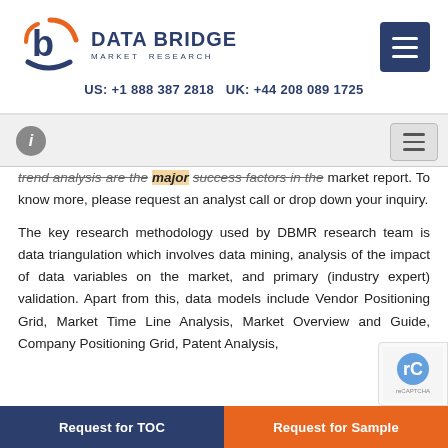DATA BRIDGE MARKET RESEARCH | US: +1 888 387 2818 UK: +44 208 089 1725
trend analysis are the major success factors in the market report. To know more, please request an analyst call or drop down your inquiry.
The key research methodology used by DBMR research team is data triangulation which involves data mining, analysis of the impact of data variables on the market, and primary (industry expert) validation. Apart from this, data models include Vendor Positioning Grid, Market Time Line Analysis, Market Overview and Guide, Company Positioning Grid, Patent Analysis,
Request for TOC | Request for Sample